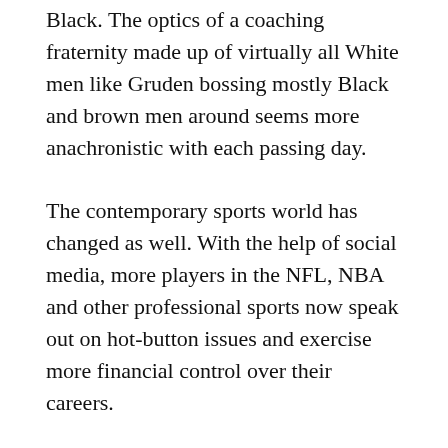Black. The optics of a coaching fraternity made up of virtually all White men like Gruden bossing mostly Black and brown men around seems more anachronistic with each passing day.
The contemporary sports world has changed as well. With the help of social media, more players in the NFL, NBA and other professional sports now speak out on hot-button issues and exercise more financial control over their careers.
These two cultures within the modern NFL — one led by White men, one mostly Black —